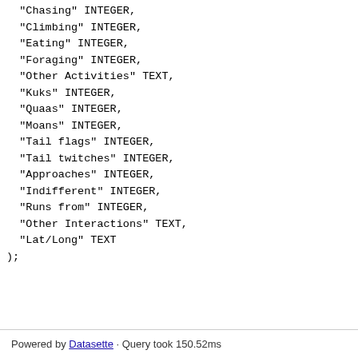"Chasing" INTEGER,
  "Climbing" INTEGER,
  "Eating" INTEGER,
  "Foraging" INTEGER,
  "Other Activities" TEXT,
  "Kuks" INTEGER,
  "Quaas" INTEGER,
  "Moans" INTEGER,
  "Tail flags" INTEGER,
  "Tail twitches" INTEGER,
  "Approaches" INTEGER,
  "Indifferent" INTEGER,
  "Runs from" INTEGER,
  "Other Interactions" TEXT,
  "Lat/Long" TEXT
);
Powered by Datasette · Query took 150.52ms